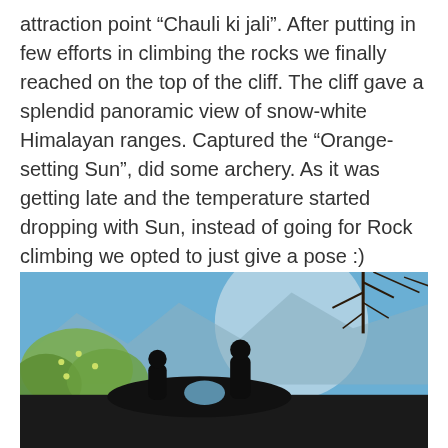attraction point “Chauli ki jali”. After putting in few efforts in climbing the rocks we finally reached on the top of the cliff. The cliff gave a splendid panoramic view of snow-white Himalayan ranges. Captured the “Orange- setting Sun”, did some archery. As it was getting late and the temperature started dropping with Sun, instead of going for Rock climbing we opted to just give a pose :)
[Figure (photo): Outdoor photograph showing silhouettes of people posing on a rocky cliff against a blue sky with mountains and trees in the background.]